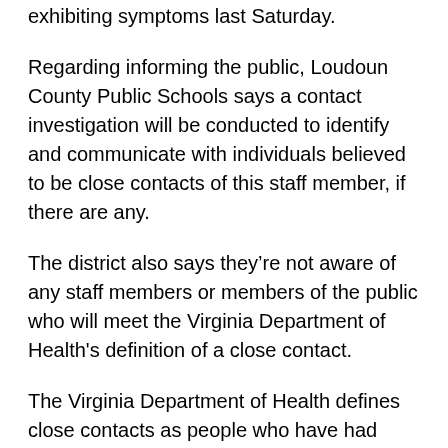exhibiting symptoms last Saturday.
Regarding informing the public, Loudoun County Public Schools says a contact investigation will be conducted to identify and communicate with individuals believed to be close contacts of this staff member, if there are any.
The district also says they’re not aware of any staff members or members of the public who will meet the Virginia Department of Health's definition of a close contact.
The Virginia Department of Health defines close contacts as people who have had close contact within six feet for 15 minutes or more with a person who tests positive for the coronavirus starting from 48 hours before the onset of symptoms.